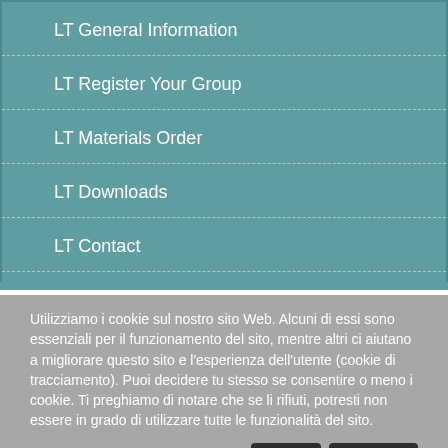LT General Information
LT Register Your Group
LT Materials Order
LT Downloads
LT Contact
Utilizziamo i cookie sul nostro sito Web. Alcuni di essi sono essenziali per il funzionamento del sito, mentre altri ci aiutano a migliorare questo sito e l'esperienza dell'utente (cookie di tracciamento). Puoi decidere tu stesso se consentire o meno i cookie. Ti preghiamo di notare che se li rifiuti, potresti non essere in grado di utilizzare tutte le funzionalità del sito.